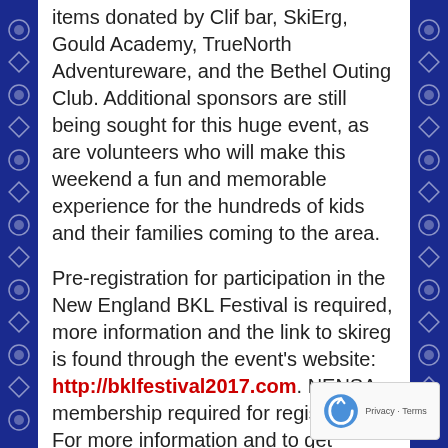items donated by Clif bar, SkiErg, Gould Academy, TrueNorth Adventureware, and the Bethel Outing Club. Additional sponsors are still being sought for this huge event, as are volunteers who will make this weekend a fun and memorable experience for the hundreds of kids and their families coming to the area.
Pre-registration for participation in the New England BKL Festival is required, more information and the link to skireg is found through the event's website: http://bklfestival2017.com. NENSA membership required for registration. For more information and to get involved, contact Wade Kavanaugh and Tracyn Thayer, Event Directors via email: BLKfest2017info@gmail.com